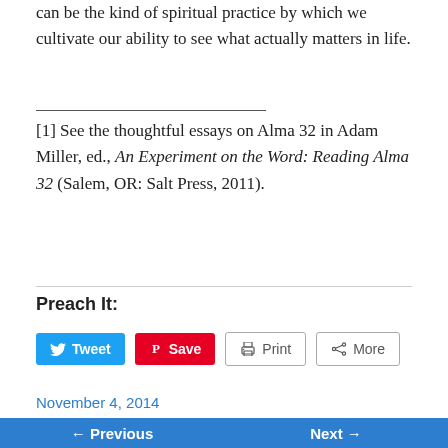can be the kind of spiritual practice by which we cultivate our ability to see what actually matters in life.
[1] See the thoughtful essays on Alma 32 in Adam Miller, ed., An Experiment on the Word: Reading Alma 32 (Salem, OR: Salt Press, 2011).
Preach It:
Tweet  Save  Print  More
November 4, 2014
← Previous  Next →